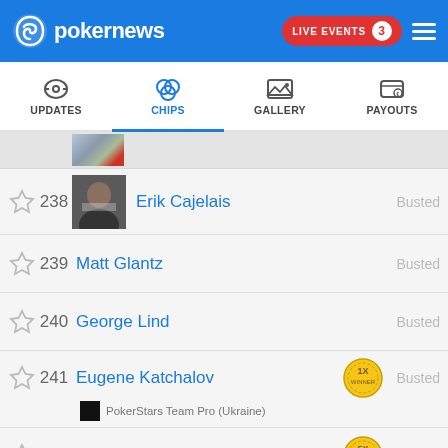pokernews — LIVE EVENTS 3
UPDATES | CHIPS | GALLERY | PAYOUTS
238 Erik Cajelais — Busted
239 Matt Glantz — Busted
240 George Lind — Busted
241 Eugene Katchalov — PokerStars Team Pro (Ukraine) — Busted
242 Brian Rast — Busted